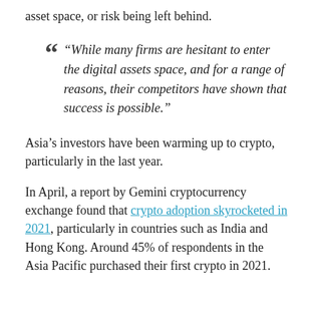asset space, or risk being left behind.
“While many firms are hesitant to enter the digital assets space, and for a range of reasons, their competitors have shown that success is possible.”
Asia’s investors have been warming up to crypto, particularly in the last year.
In April, a report by Gemini cryptocurrency exchange found that crypto adoption skyrocketed in 2021, particularly in countries such as India and Hong Kong. Around 45% of respondents in the Asia Pacific purchased their first crypto in 2021.